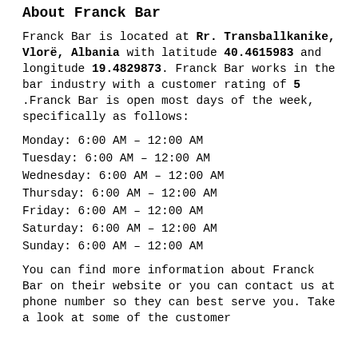About Franck Bar
Franck Bar is located at Rr. Transballkanike, Vlorë, Albania with latitude 40.4615983 and longitude 19.4829873. Franck Bar works in the bar industry with a customer rating of 5. Franck Bar is open most days of the week, specifically as follows:
Monday: 6:00 AM – 12:00 AM
Tuesday: 6:00 AM – 12:00 AM
Wednesday: 6:00 AM – 12:00 AM
Thursday: 6:00 AM – 12:00 AM
Friday: 6:00 AM – 12:00 AM
Saturday: 6:00 AM – 12:00 AM
Sunday: 6:00 AM – 12:00 AM
You can find more information about Franck Bar on their website or you can contact us at phone number so they can best serve you. Take a look at some of the customer